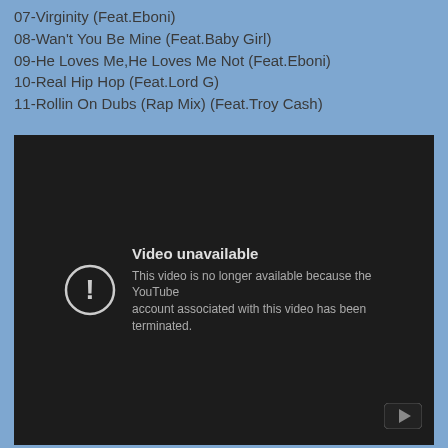07-Virginity (Feat.Eboni)
08-Wan't You Be Mine (Feat.Baby Girl)
09-He Loves Me,He Loves Me Not (Feat.Eboni)
10-Real Hip Hop (Feat.Lord G)
11-Rollin On Dubs (Rap Mix) (Feat.Troy Cash)
[Figure (screenshot): YouTube video unavailable message on dark background. Text reads: 'Video unavailable. This video is no longer available because the YouTube account associated with this video has been terminated.']